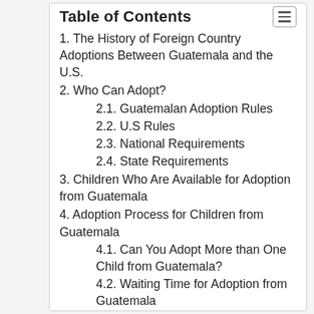Table of Contents
1. The History of Foreign Country Adoptions Between Guatemala and the U.S.
2. Who Can Adopt?
2.1. Guatemalan Adoption Rules
2.2. U.S Rules
2.3. National Requirements
2.4. State Requirements
3. Children Who Are Available for Adoption from Guatemala
4. Adoption Process for Children from Guatemala
4.1. Can You Adopt More than One Child from Guatemala?
4.2. Waiting Time for Adoption from Guatemala
4.3. What Travel is Involved in a Child Adoption from Guatemala?